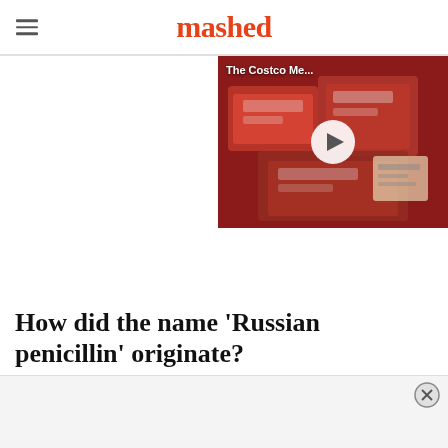mashed
[Figure (screenshot): Video thumbnail showing packaged red meat at Costco with overlay text 'The Costco Me...' and a play button]
How did the name 'Russian penicillin' originate?